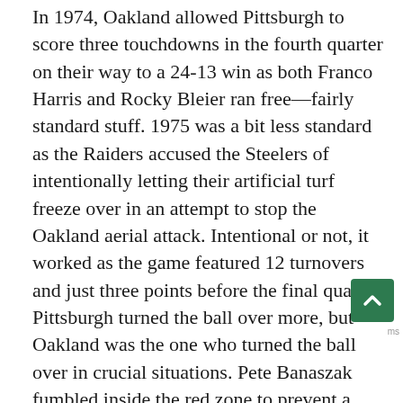In 1974, Oakland allowed Pittsburgh to score three touchdowns in the fourth quarter on their way to a 24-13 win as both Franco Harris and Rocky Bleier ran free—fairly standard stuff. 1975 was a bit less standard as the Raiders accused the Steelers of intentionally letting their artificial turf freeze over in an attempt to stop the Oakland aerial attack. Intentional or not, it worked as the game featured 12 turnovers and just three points before the final quarter. Pittsburgh turned the ball over more, but Oakland was the one who turned the ball over in crucial situations. Pete Banaszak fumbled inside the red zone to prevent a Raiders score; Marv Hubbard fumbled inside Oakland's own 30 to set up a score for the Steelers. Critical mistakes at critical times, and Oakland's day was over when Mel Blount stopped Cliff Branch in bounds with time running out to preserve the 16-10 Steelers win.